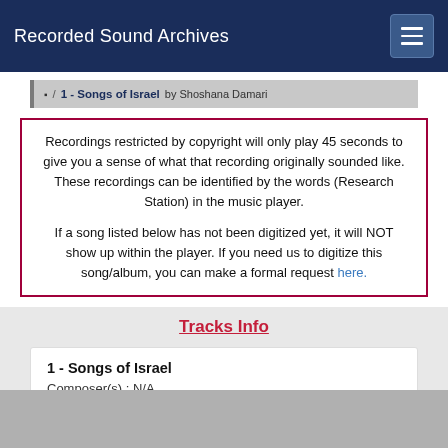Recorded Sound Archives
1 - Songs of Israel by Shoshana Damari
Recordings restricted by copyright will only play 45 seconds to give you a sense of what that recording originally sounded like. These recordings can be identified by the words (Research Station) in the music player.

If a song listed below has not been digitized yet, it will NOT show up within the player. If you need us to digitize this song/album, you can make a formal request here.
Tracks Info
1 - Songs of Israel
Composer(s) : N/A